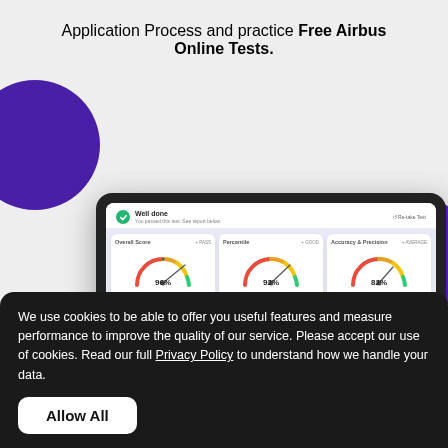Application Process and practice Free Airbus Online Tests.
[Figure (screenshot): Tablet showing an online test results page with three gauge charts: Overall Score 96%, Percentile 92%, Accuracy & Precision 82%]
We use cookies to be able to offer you useful features and measure performance to improve the quality of our service. Please accept our use of cookies. Read our full Privacy Policy to understand how we handle your data.
Allow All